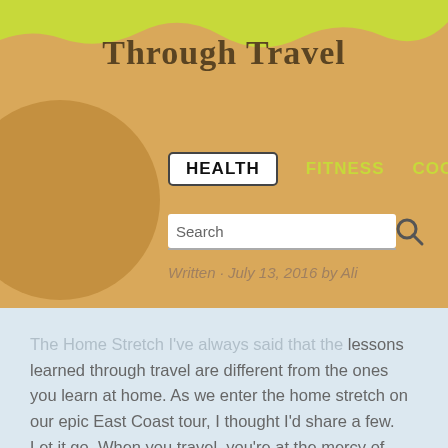Through Travel
HEALTH  FITNESS  COOKING
Written · July 13, 2016 by Ali
The Home Stretch I've always said that the lessons learned through travel are different from the ones you learn at home. As we enter the home stretch on our epic East Coast tour, I thought I'd share a few. Let it go. When you travel, you're at the mercy of others. Flight delayed? Let it [...]
READ MORE